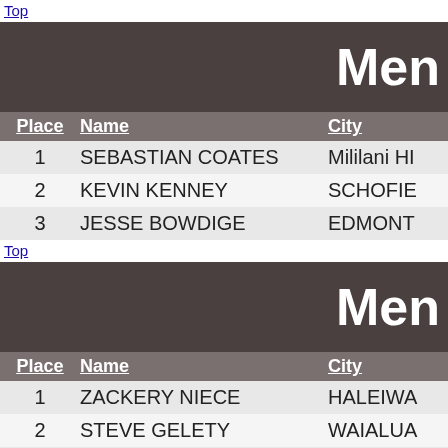Top
Men
| Place | Name | City |
| --- | --- | --- |
| 1 | SEBASTIAN COATES | Mililani HI |
| 2 | KEVIN KENNEY | SCHOFIELD |
| 3 | JESSE BOWDIGE | EDMONTON |
Top
Men
| Place | Name | City |
| --- | --- | --- |
| 1 | ZACKERY NIECE | HALEIWA |
| 2 | STEVE GELETY | WAIALUA |
| 3 | ZACHARY JAMBOR | HONOLULU |
| 4 | ALEX KAUHANE | HONOLULU |
| 5 | LOUIE CATANESE | HONOLULU |